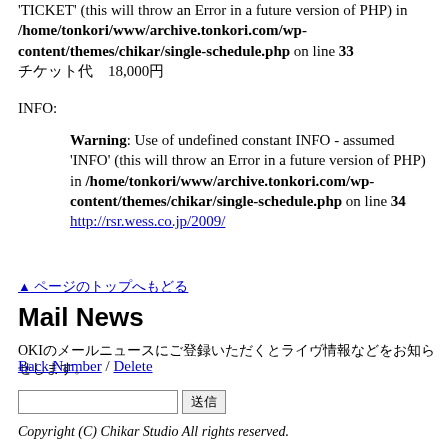'TICKET' (this will throw an Error in a future version of PHP) in /home/tonkori/www/archive.tonkori.com/wp-content/themes/chikar/single-schedule.php on line 33 チケット代　18,000円
INFO:
Warning: Use of undefined constant INFO - assumed 'INFO' (this will throw an Error in a future version of PHP) in /home/tonkori/www/archive.tonkori.com/wp-content/themes/chikar/single-schedule.php on line 34 http://rsr.wess.co.jp/2009/
▲ ページのトップへもどる
Mail News
OKIのメールニュースにご登録いただくとライヴ情報などをお知らせします。
Back Number / Delete
送信
Copyright (C) Chikar Studio All rights reserved.